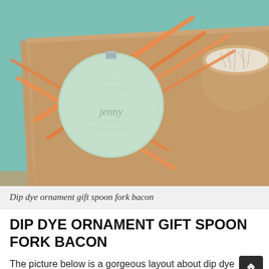[Figure (photo): A kraft paper gift box with a mint/teal circular wooden ornament tag inscribed with 'jenny' in cursive, tied with orange/peach ribbon strands. To the right, a round kraft box filled with white shredded paper filler, on a teal background.]
Dip dye ornament gift spoon fork bacon
DIP DYE ORNAMENT GIFT SPOON FORK BACON
The picture below is a gorgeous layout about dip dye